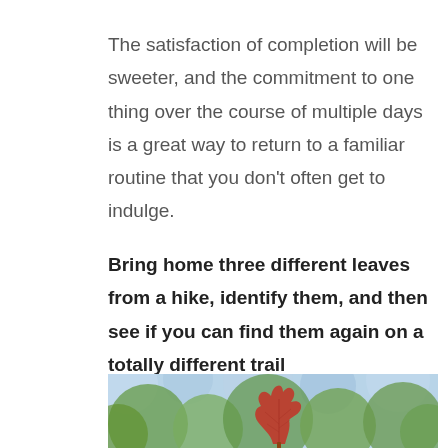The satisfaction of completion will be sweeter, and the commitment to one thing over the course of multiple days is a great way to return to a familiar routine that you don't often get to indulge.
Bring home three different leaves from a hike, identify them, and then see if you can find them again on a totally different trail
[Figure (photo): A red/orange autumn leaf held up against a blurred background of green trees and blue sky bokeh.]